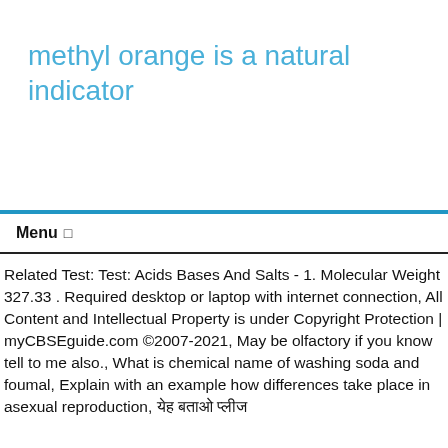methyl orange is a natural indicator
Related Test: Test: Acids Bases And Salts - 1. Molecular Weight 327.33 . Required desktop or laptop with internet connection, All Content and Intellectual Property is under Copyright Protection | myCBSEguide.com ©2007-2021, May be olfactory if you know tell to me also., What is chemical name of washing soda and foumal, Explain with an example how differences take place in asexual reproduction, येह बताओ प्लीज